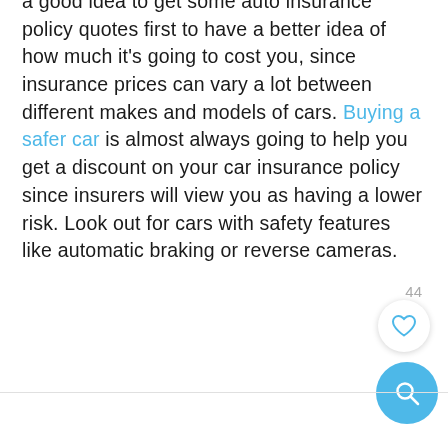a good idea to get some auto insurance policy quotes first to have a better idea of how much it's going to cost you, since insurance prices can vary a lot between different makes and models of cars. Buying a safer car is almost always going to help you get a discount on your car insurance policy since insurers will view you as having a lower risk. Look out for cars with safety features like automatic braking or reverse cameras.